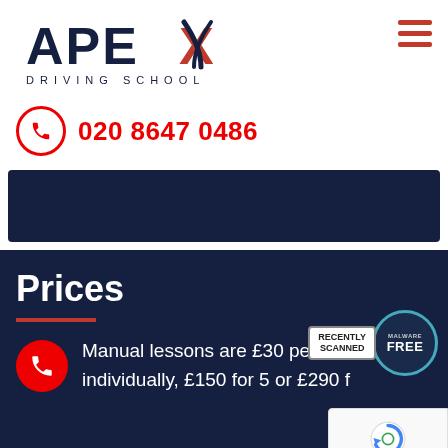[Figure (logo): Apex Driving School logo with stylized road/chevron graphic in navy and red]
020 8647 0486
[Figure (other): Dark navy banner/slider area]
Prices
[Figure (other): Recently Scanned Malware Free badge]
Manual lessons are £30 per hour individually, £150 for 5 or £290 f...